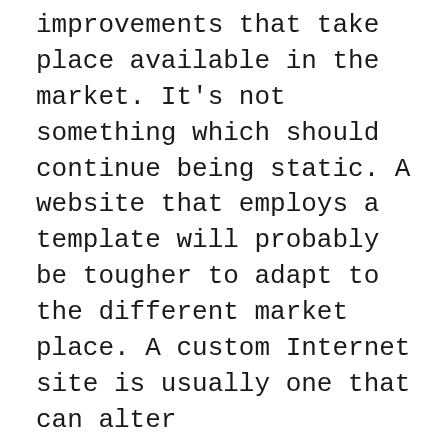improvements that take place available in the market. It's not something which should continue being static. A website that employs a template will probably be tougher to adapt to the different market place. A custom Internet site is usually one that can alter
The web WEBSITE DESIGN site development will contain the marketing of the website plus the addition of new articles. It will eventually Ensure that the web site continues to be fresh and that it's going to be a thing that people need to return to. A stagnant Web page becomes uninteresting